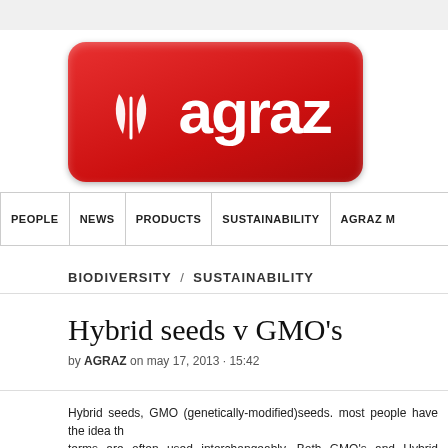[Figure (logo): Agraz logo — red rounded rectangle with white leaf/plant icon and white bold text 'agraz']
PEOPLE | NEWS | PRODUCTS | SUSTAINABILITY | AGRAZ M…
BIODIVERSITY / SUSTAINABILITY
Hybrid seeds v GMO's
by AGRAZ on may 17, 2013 · 15:42
Hybrid seeds, GMO (genetically-modified)seeds. most people have the idea that these terms are often used interchangeably. Both GMO's and Hybrid varieties re... artificially by cross-breeding, however there are some significant differences...